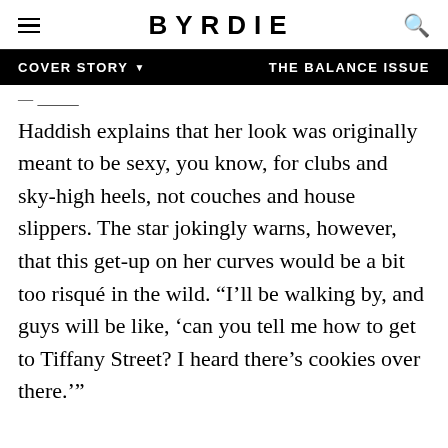BYRDIE
COVER STORY ▼   THE BALANCE ISSUE
Haddish explains that her look was originally meant to be sexy, you know, for clubs and sky-high heels, not couches and house slippers. The star jokingly warns, however, that this get-up on her curves would be a bit too risqué in the wild. “I’ll be walking by, and guys will be like, ‘can you tell me how to get to Tiffany Street? I heard there’s cookies over there.’”